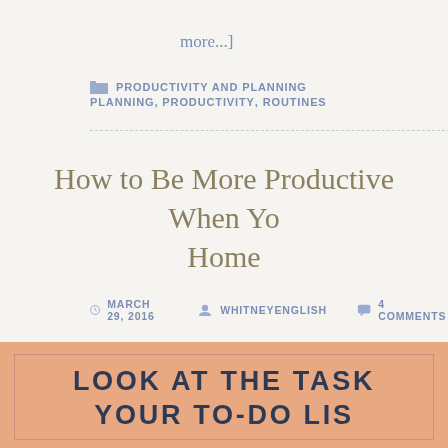more...]
PRODUCTIVITY AND PLANNING
PLANNING, PRODUCTIVITY, ROUTINES
How to Be More Productive When You Work From Home
MARCH 29, 2016  WHITNEYENGLISH  4 COMMENTS
[Figure (infographic): Peach/salmon colored infographic box with dark blue bold uppercase text reading 'LOOK AT THE TASKS ON YOUR TO-DO LIS...' (truncated)]